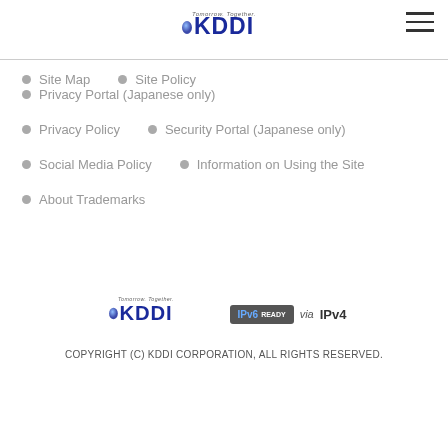KDDI — Tomorrow. Together. (logo)
Site Map
Site Policy
Privacy Portal (Japanese only)
Privacy Policy
Security Portal (Japanese only)
Social Media Policy
Information on Using the Site
About Trademarks
[Figure (logo): KDDI Tomorrow. Together. logo and IPv6 Ready via IPv4 badge]
COPYRIGHT (C) KDDI CORPORATION, ALL RIGHTS RESERVED.